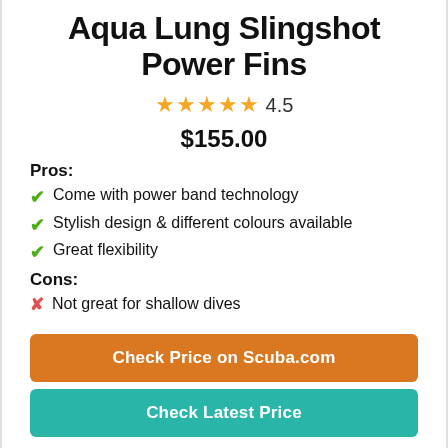Aqua Lung Slingshot Power Fins
★★★★½ 4.5
$155.00
Pros:
Come with power band technology
Stylish design & different colours available
Great flexibility
Cons:
Not great for shallow dives
Check Price on Scuba.com
Check Latest Price